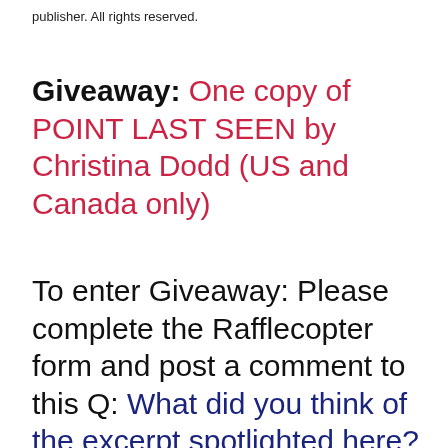publisher. All rights reserved.
Giveaway: One copy of POINT LAST SEEN by Christina Dodd (US and Canada only)
To enter Giveaway: Please complete the Rafflecopter form and post a comment to this Q: What did you think of the excerpt spotlighted here? Leave a comment with your thoughts on the book.